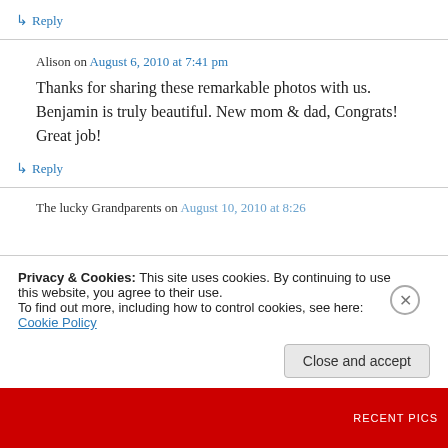↳ Reply
Alison on August 6, 2010 at 7:41 pm
Thanks for sharing these remarkable photos with us. Benjamin is truly beautiful. New mom & dad, Congrats! Great job!
↳ Reply
The lucky Grandparents on August 10, 2010 at 8:26
Privacy & Cookies: This site uses cookies. By continuing to use this website, you agree to their use.
To find out more, including how to control cookies, see here: Cookie Policy
Close and accept